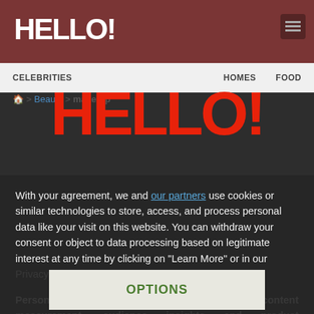HELLO!
CELEBRITIES   HOMES   FOOD
Beauty > make-up
[Figure (logo): HELLO! magazine logo in large red bold text centered in modal overlay]
With your agreement, we and our partners use cookies or similar technologies to store, access, and process personal data like your visit on this website. You can withdraw your consent or object to data processing based on legitimate interest at any time by clicking on "Learn More" or in our Privacy Policy on this website.
Personalised ads and content, ad and content measurement, audience insights and product development, Precise geolocation data, and identification through device scanning, Store and/or access information on a device
OPTIONS
AGREE